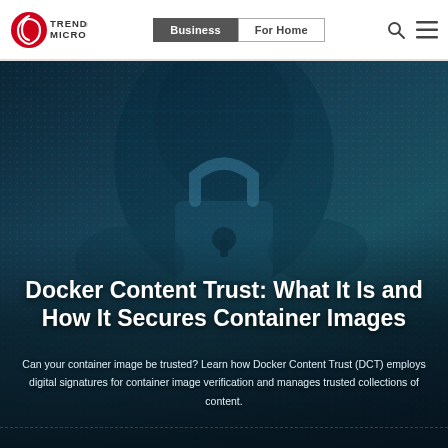Trend Micro | Business | For Home
[Figure (screenshot): Dark teal hero banner with a cybersecurity themed background showing a shadowy figure with a padlock motif and digital dot-matrix texture]
Docker Content Trust: What It Is and How It Secures Container Images
Can your container image be trusted? Learn how Docker Content Trust (DCT) employs digital signatures for container image verification and manages trusted collections of content.